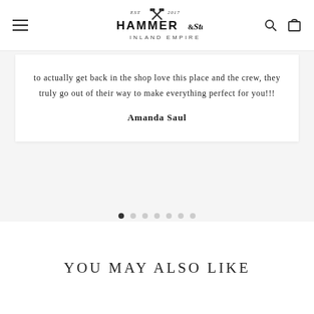[Figure (logo): Hammer & Stain Inland Empire logo with crossed hammers, EST 2017]
to actually get back in the shop love this place and the crew, they truly go out of their way to make everything perfect for you!!!
Amanda Saul
[Figure (other): Carousel pagination dots, 7 dots with first dot active/filled]
YOU MAY ALSO LIKE